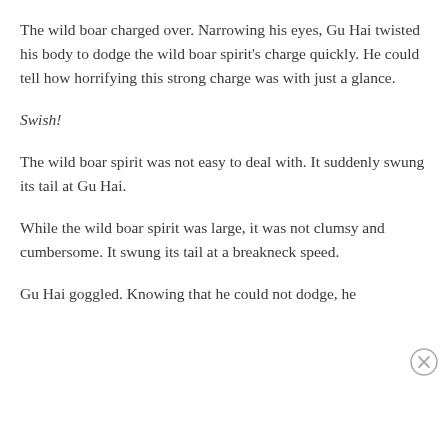The wild boar charged over. Narrowing his eyes, Gu Hai twisted his body to dodge the wild boar spirit’s charge quickly. He could tell how horrifying this strong charge was with just a glance.
Swish!
The wild boar spirit was not easy to deal with. It suddenly swung its tail at Gu Hai.
While the wild boar spirit was large, it was not clumsy and cumbersome. It swung its tail at a breakneck speed.
Gu Hai goggled. Knowing that he could not dodge, he